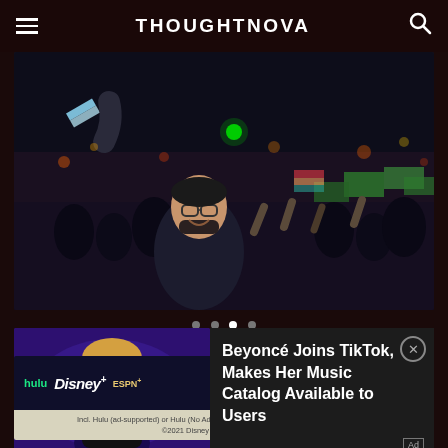THOUGHTNOVA
[Figure (photo): Night scene of a political rally with a man in a suit and glasses waving to a celebrating crowd with flags and lights]
[Figure (photo): Video thumbnail showing a woman with flowing hair in a black outfit holding a Grammy award on a purple-lit stage]
Beyoncé Joins TikTok, Makes Her Music Catalog Available to Users
[Figure (infographic): Disney Bundle advertisement: Hulu, Disney+, ESPN+ logos with GET THE DISNEY BUNDLE button. Incl. Hulu (ad-supported) or Hulu (No Ads). Access content from each service separately. ©2021 Disney and its related entities.]